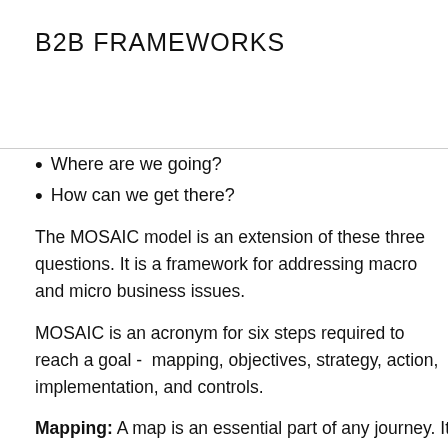B2B FRAMEWORKS
Where are we going?
How can we get there?
The MOSAIC model is an extension of these three questions. It is a framework for addressing macro and micro business issues.
MOSAIC is an acronym for six steps required to reach a goal -  mapping, objectives, strategy, action, implementation, and controls.
Mapping: A map is an essential part of any journey. It tells you where you are, where you could go, and the routes by